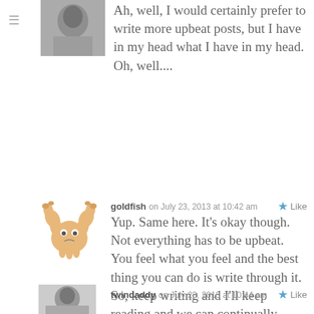[Figure (photo): Black and white avatar photo of a person at top left area]
Ah, well, I would certainly prefer to write more upbeat posts, but I have in my head what I have in my head. Oh, well....
[Figure (illustration): Goldfish crab/crustacean cartoon avatar icon]
goldfish on July 23, 2013 at 10:42 am
Yup. Same here. It’s okay though. Not everything has to be upbeat. You feel what you feel and the best thing you can do is write through it. So, keep writing and I’ll keep reading and we can continually comment “hugs” at each other. 😉
[Figure (photo): Small grayscale avatar photo of twindaddy]
twindaddy on July 23, 2013 at 10:44 am